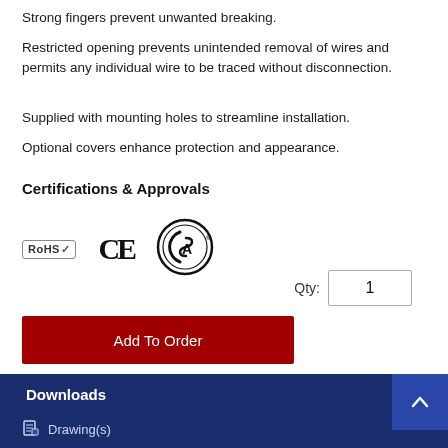Strong fingers prevent unwanted breaking.
Restricted opening prevents unintended removal of wires and permits any individual wire to be traced without disconnection.
Supplied with mounting holes to streamline installation.
Optional covers enhance protection and appearance.
Certifications & Approvals
[Figure (logo): RoHS checkmark badge, CE mark, and CSA certification logo]
Qty: 1
Add To Order
Downloads
Drawing(s)